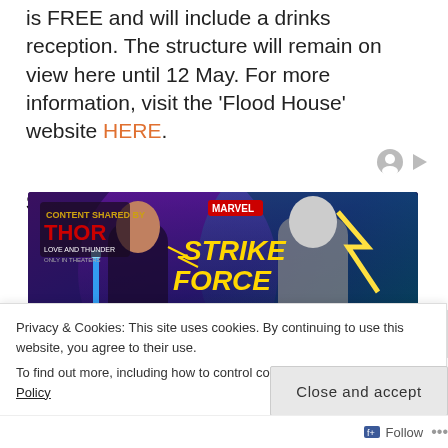is FREE and will include a drinks reception. The structure will remain on view here until 12 May. For more information, visit the ‘Flood House’ website HERE.
Sponsored Content
[Figure (illustration): Marvel Strike Force advertisement banner featuring two animated female characters from Thor Love and Thunder, on a purple/teal gradient background with the Marvel Strike Force logo]
Privacy & Cookies: This site uses cookies. By continuing to use this website, you agree to their use.
To find out more, including how to control cookies, see here: Cookie Policy
Close and accept